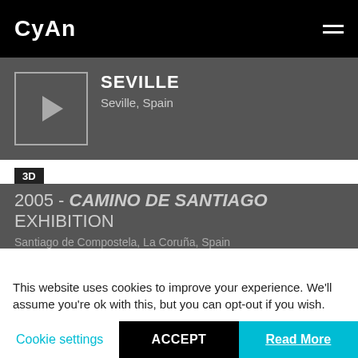Cyan
SEVILLE
Seville, Spain
3D
2005 - CAMINO DE SANTIAGO EXHIBITION
Santiago de Compostela, La Coruña, Spain
3D
2005 - ARCHAEOLOGICAL MUSEUM OF LEON
Leon, Spain
This website uses cookies to improve your experience. We'll assume you're ok with this, but you can opt-out if you wish.
Cookie settings
ACCEPT
Read More